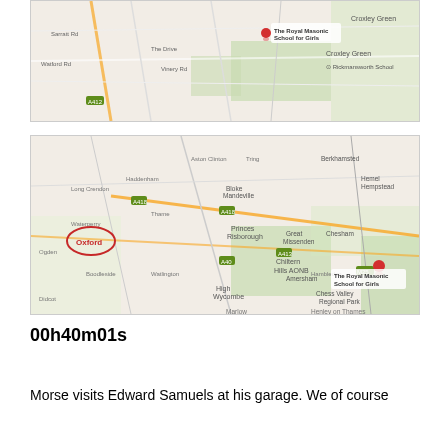[Figure (map): Close-up Google Maps view showing The Royal Masonic School for Girls with a red map pin, near Croxley Green and Rickmansworth School]
[Figure (map): Wider Google Maps view showing route from Oxford (circled in red on left) to The Royal Masonic School for Girls (red pin on right), showing areas including High Wycombe, Chiltern Hills AONB, Amersham, Chesham, Berkhamsted, Hemel Hempstead]
00h40m01s
Morse visits Edward Samuels at his garage. We of course